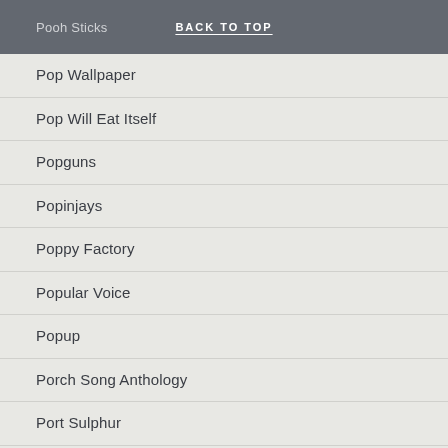Pooh Sticks | BACK TO TOP
Pop Wallpaper
Pop Will Eat Itself
Popguns
Popinjays
Poppy Factory
Popular Voice
Popup
Porch Song Anthology
Port Sulphur
Portishead
Positive Noise
Postcard Records